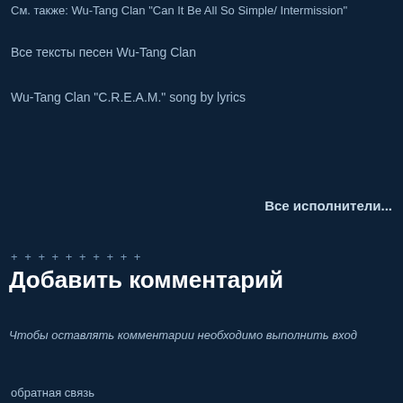См. также: Wu-Tang Clan "Can It Be All So Simple/ Intermission"
Все тексты песен Wu-Tang Clan
Wu-Tang Clan "C.R.E.A.M." song by lyrics
Все исполнители...
+ + + + + + + + + +
Добавить комментарий
Чтобы оставлять комментарии необходимо выполнить вход
обратная связь